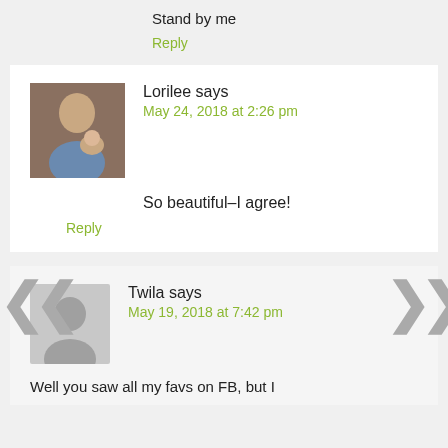Stand by me
Reply
Lorilee says
May 24, 2018 at 2:26 pm
So beautiful–I agree!
Reply
Twila says
May 19, 2018 at 7:42 pm
Well you saw all my favs on FB, but I